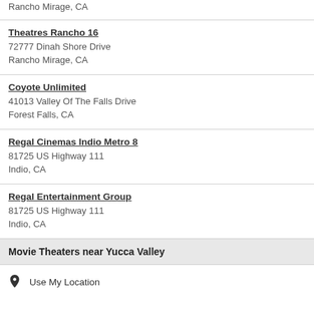Rancho Mirage, CA
Theatres Rancho 16
72777 Dinah Shore Drive
Rancho Mirage, CA
Coyote Unlimited
41013 Valley Of The Falls Drive
Forest Falls, CA
Regal Cinemas Indio Metro 8
81725 US Highway 111
Indio, CA
Regal Entertainment Group
81725 US Highway 111
Indio, CA
Movie Theaters near Yucca Valley
Use My Location